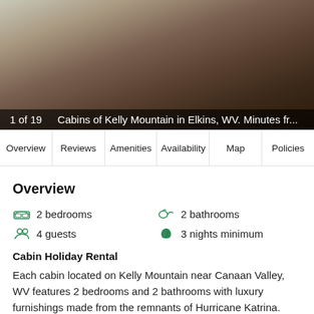[Figure (photo): Indoor room photo showing a wooden bench/chest at the foot of a bed with fluffy white bedding, hardwood floors, and window light.]
1 of 19    Cabins of Kelly Mountain in Elkins, WV. Minutes fr...
Overview | Reviews | Amenities | Availability | Map | Policies
Overview
2 bedrooms
2 bathrooms
4 guests
3 nights minimum
Cabin Holiday Rental
Each cabin located on Kelly Mountain near Canaan Valley, WV features 2 bedrooms and 2 bathrooms with luxury furnishings made from the remnants of Hurricane Katrina. Cabin 4 has a gas log fireplace in the main sitting room, sauna, and your own private hot tub. The cabins are a perfect spot to post ... More